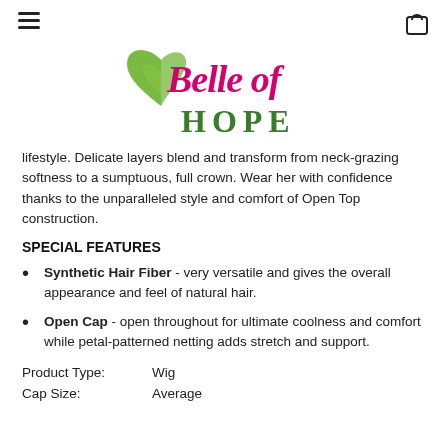Belle of Hope - navigation header with hamburger menu and cart icon
[Figure (logo): Belle of Hope logo with green heart and pink/magenta script text 'Belle of' and green serif text 'HOPE']
lifestyle. Delicate layers blend and transform from neck-grazing softness to a sumptuous, full crown. Wear her with confidence thanks to the unparalleled style and comfort of Open Top construction.
SPECIAL FEATURES
Synthetic Hair Fiber - very versatile and gives the overall appearance and feel of natural hair.
Open Cap - open throughout for ultimate coolness and comfort while petal-patterned netting adds stretch and support.
| Product Type: | Wig |
| Cap Size: | Average |